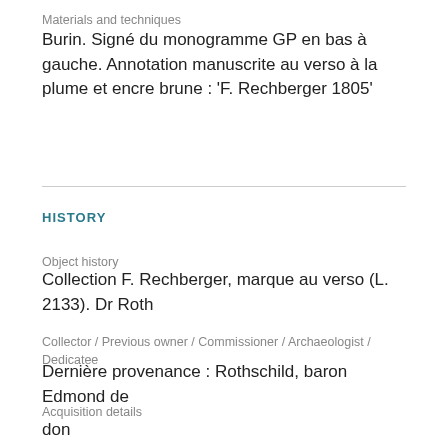Materials and techniques
Burin. Signé du monogramme GP en bas à gauche. Annotation manuscrite au verso à la plume et encre brune : 'F. Rechberger 1805'
HISTORY
Object history
Collection F. Rechberger, marque au verso (L. 2133). Dr Roth
Collector / Previous owner / Commissioner / Archaeologist / Dedicatee
Dernière provenance : Rothschild, baron Edmond de
Acquisition details
don